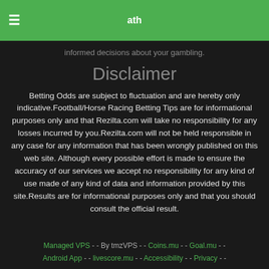≡  ath
informed decisions about your gambling.
Disclaimer
Betting Odds are subject to fluctuation and are hereby only indicative.Football/Horse Racing Betting Tips are for informational purposes only and that Rezilta.com will take no responsibility for any losses incurred by you.Rezilta.com will not be held responsible in any case for any information that has been wrongly published on this web site. Although every possible effort is made to ensure the accuracy of our services we accept no responsibility for any kind of use made of any kind of data and information provided by this site.Results are for informational purposes only and that you should consult the official result.
Managed VPS - - By tmzVPS - - Coins.mu - - Goal.mu - - Android App - - livescore.mu - - Accessibility - - Privacy - -